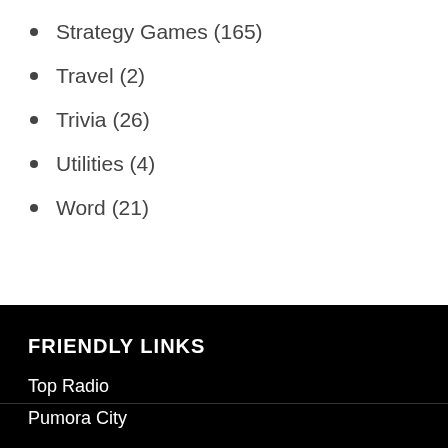Strategy Games (165)
Travel (2)
Trivia (26)
Utilities (4)
Word (21)
FRIENDLY LINKS
Top Radio
Pumora City